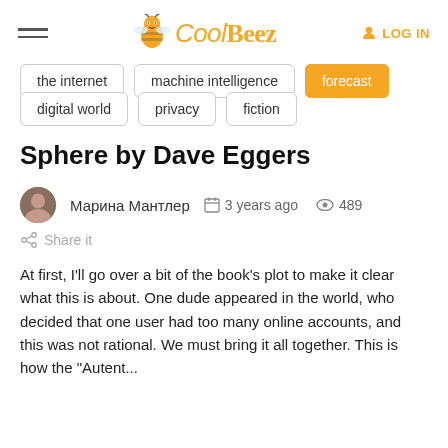CoolBeez — LOG IN
the internet
machine intelligence
forecast
digital world
privacy
fiction
Sphere by Dave Eggers
Марина Мантлер   3 years ago   489   Share it
At first, I'll go over a bit of the book's plot to make it clear what this is about. One dude appeared in the world, who decided that one user had too many online accounts, and this was not rational. We must bring it all together. This is how the "Autent...